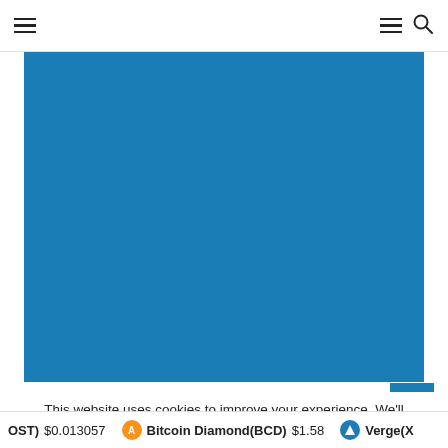Navigation bar with hamburger menu and search icon
[Figure (photo): Large solid blue rectangle placeholder image]
This website uses cookies to improve your experience. We'll assume you're ok with this, but you can opt-out if you w
OST) $0.013057   Bitcoin Diamond(BCD) $1.58   Verge(X